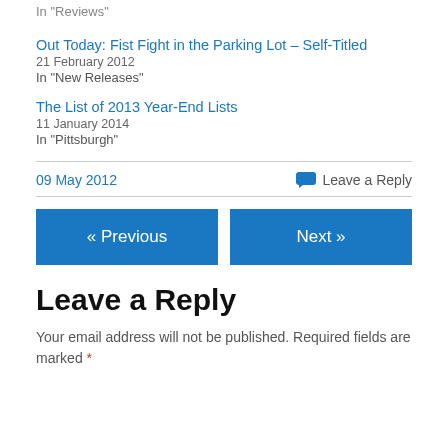In "Reviews"
Out Today: Fist Fight in the Parking Lot – Self-Titled
21 February 2012
In "New Releases"
The List of 2013 Year-End Lists
11 January 2014
In "Pittsburgh"
09 May 2012
Leave a Reply
« Previous
Next »
Leave a Reply
Your email address will not be published. Required fields are marked *